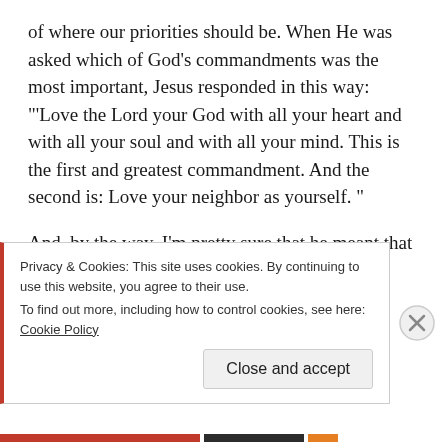of where our priorities should be. When He was asked which of God's commandments was the most important,  Jesus responded in this way: "'Love the Lord your God with all your heart and with all your soul and with all your mind. This is the first and greatest commandment.  And the second is: Love your neighbor as yourself. "
And, by the way, I'm pretty sure that he meant that to be:
No, not just for some, oh, but for everyone.
Privacy & Cookies: This site uses cookies. By continuing to use this website, you agree to their use.
To find out more, including how to control cookies, see here: Cookie Policy
Close and accept